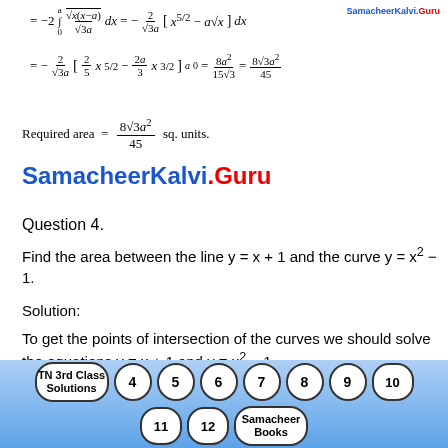Required area = 8√3a²/45 sq. units.
SamacheerKalvi.Guru
Question 4.
Find the area between the line y = x + 1 and the curve y = x² – 1.
Solution:
To get the points of intersection of the curves we should solve the equations y = x + 1 and y = x² – 1.
we get. x² – 1 = x + 1
TN 3rd Class Solutions  4  5  6  7  8  9  10  11  12  Samacheer Books